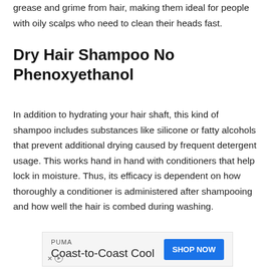grease and grime from hair, making them ideal for people with oily scalps who need to clean their heads fast.
Dry Hair Shampoo No Phenoxyethanol
In addition to hydrating your hair shaft, this kind of shampoo includes substances like silicone or fatty alcohols that prevent additional drying caused by frequent detergent usage. This works hand in hand with conditioners that help lock in moisture. Thus, its efficacy is dependent on how thoroughly a conditioner is administered after shampooing and how well the hair is combed during washing.
[Figure (other): Advertisement banner for PUMA Coast-to-Coast Cool with a blue SHOP NOW button and ad disclosure icons]